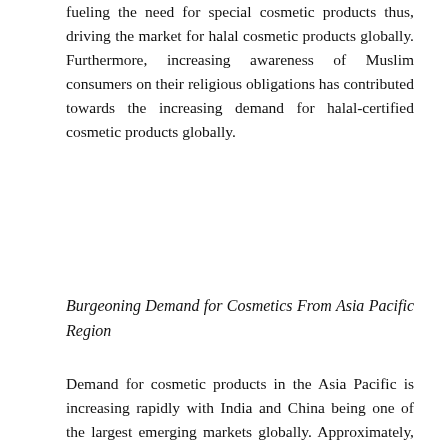fueling the need for special cosmetic products thus, driving the market for halal cosmetic products globally. Furthermore, increasing awareness of Muslim consumers on their religious obligations has contributed towards the increasing demand for halal-certified cosmetic products globally.
Burgeoning Demand for Cosmetics From Asia Pacific Region
Demand for cosmetic products in the Asia Pacific is increasing rapidly with India and China being one of the largest emerging markets globally. Approximately, 15% of the Indian population is Muslim, thus giving the halal cosmetic products a lucrative opportunity for growth. In this regards, Iba Halal Care is the first producer of cosmetic products with Halal certification. Furthermore, Malaysia is one of the largest exports markets in comparison with Southeast Asian neighbor for halal products. For instance, as per data revealed by the Global Islamic Economy report, in 2017, Malaysia exported USD10.5 billion worth of certified products, up 32% from four years earlier in local-currency terms. Food accounted for nearly half the